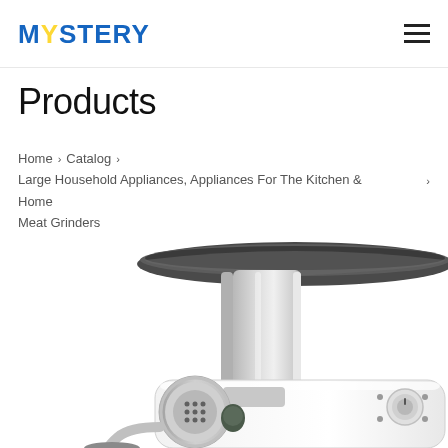MYSTERY
Products
Home > Catalog > Large Household Appliances, Appliances For The Kitchen & Home > Meat Grinders
[Figure (photo): A white electric meat grinder with chrome/silver metallic components including a feeding tube with a wide tray on top, grinding head with blade and plate at front, and control knob on the side. The image is cropped and shows the upper and front portions of the appliance on a white background.]